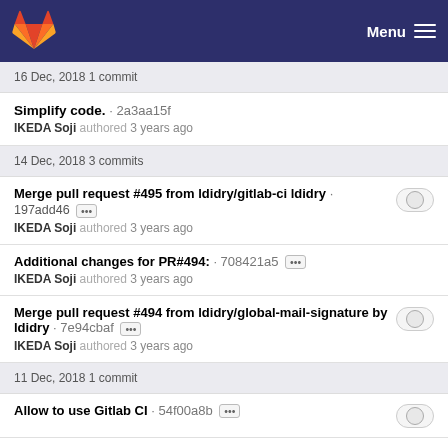GitLab — Menu
16 Dec, 2018 1 commit
Simplify code. · 2a3aa15f — IKEDA Soji authored 3 years ago
14 Dec, 2018 3 commits
Merge pull request #495 from ldidry/gitlab-ci ldidry · 197add46 ··· — IKEDA Soji authored 3 years ago
Additional changes for PR#494: · 708421a5 ··· — IKEDA Soji authored 3 years ago
Merge pull request #494 from ldidry/global-mail-signature by ldidry · 7e94cbaf ··· — IKEDA Soji authored 3 years ago
11 Dec, 2018 1 commit
Allow to use Gitlab CI · 54f00a8b